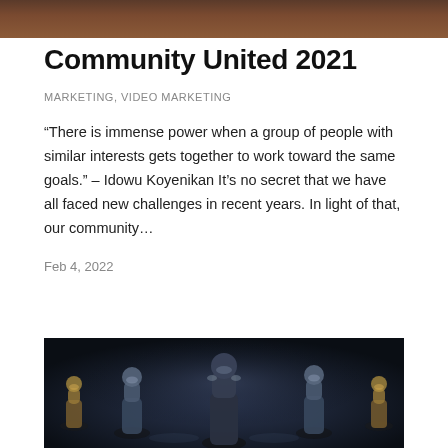[Figure (photo): Top portion of a dark brownish-orange photo, cropped at the top of the page]
Community United 2021
MARKETING, VIDEO MARKETING
“There is immense power when a group of people with similar interests gets together to work toward the same goals.” – Idowu Koyenikan It’s no secret that we have all faced new challenges in recent years. In light of that, our community…
Feb 4, 2022
[Figure (photo): Dark atmospheric photo showing multiple humanoid robot/figurine figures standing together, with one taller central figure among shorter ones, rendered with metallic golden and dark tones against a dark background]